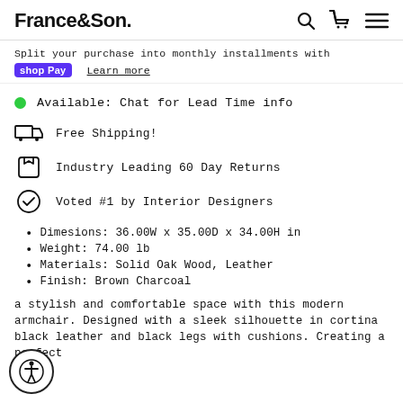France&Son.
Split your purchase into monthly installments with shop Pay Learn more
Available: Chat for Lead Time info
Free Shipping!
Industry Leading 60 Day Returns
Voted #1 by Interior Designers
Dimesions: 36.00W x 35.00D x 34.00H in
Weight: 74.00 lb
Materials: Solid Oak Wood, Leather
Finish: Brown Charcoal
a stylish and comfortable space with this modern armchair. Designed with a sleek silhouette in cortina black leather and black legs with cushions. Creating a perfect...